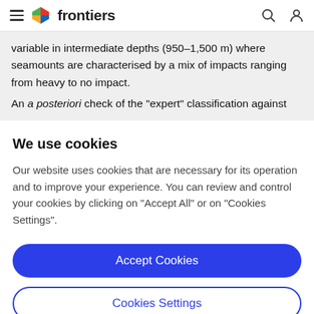frontiers
variable in intermediate depths (950–1,500 m) where seamounts are characterised by a mix of impacts ranging from heavy to no impact.
An a posteriori check of the "expert" classification against
We use cookies
Our website uses cookies that are necessary for its operation and to improve your experience. You can review and control your cookies by clicking on "Accept All" or on "Cookies Settings".
Accept Cookies
Cookies Settings